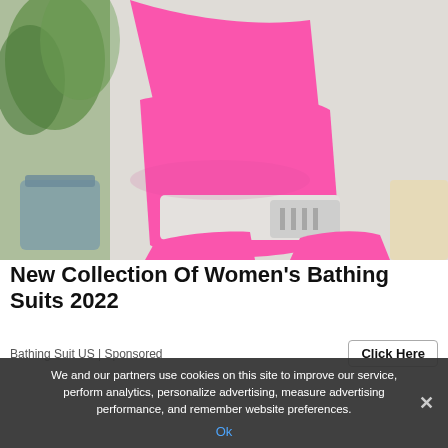[Figure (photo): Product photo of a hot pink one-piece women's bathing suit with a silver buckle detail, displayed flat on a white surface with a green plant visible on the left.]
New Collection Of Women's Bathing Suits 2022
Bathing Suit US | Sponsored
Click Here
We and our partners use cookies on this site to improve our service, perform analytics, personalize advertising, measure advertising performance, and remember website preferences.
Ok